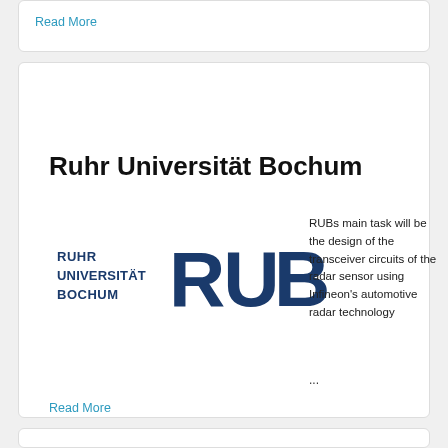Read More
Ruhr Universität Bochum
[Figure (logo): Ruhr Universität Bochum logo with wordmark and RUB abbreviation in dark blue]
RUBs main task will be the design of the transceiver circuits of the radar sensor using Infineon's automotive radar technology
...
Read More